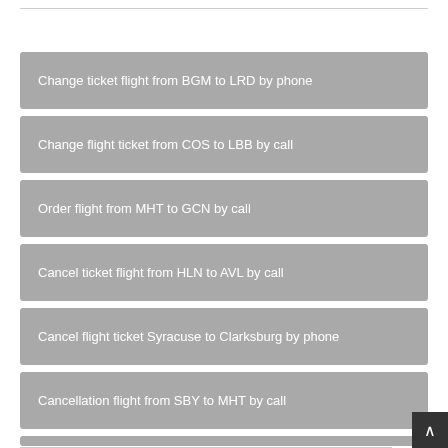Change ticket flight from BGM to LRD by phone
Change flight ticket from COS to LBB by call
Order flight from MHT to GCN by call
Cancel ticket flight from HLN to AVL by call
Cancel flight ticket Syracuse to Clarksburg by phone
Cancellation flight from SBY to MHT by call
Reservation flight from SJT to MLU by phone